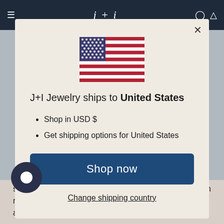j + i  [navigation logo and icons]
[Figure (illustration): US flag SVG illustration centered in modal dialog]
J+I Jewelry ships to United States
Shop in USD $
Get shipping options for United States
Shop now
Change shipping country
store will also be subject to the Terms of Service. You can review the most current version of the Terms of Service at